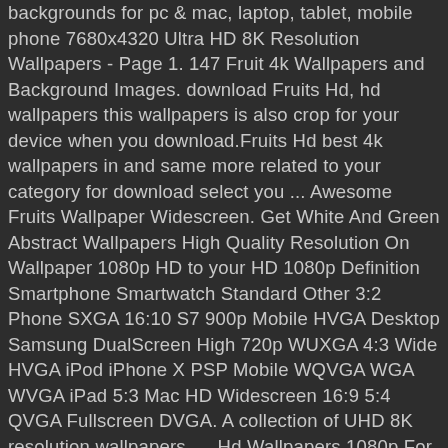backgrounds for pc & mac, laptop, tablet, mobile phone 7680x4320 Ultra HD 8K Resolution Wallpapers - Page 1. 147 Fruit 4k Wallpapers and Background Images. download Fruits Hd, hd wallpapers this wallpapers is also crop for your device when you download.Fruits Hd best 4k wallpapers in and same more related to your category for download select you ... Awesome Fruits Wallpaper Widescreen. Get White And Green Abstract Wallpapers High Quality Resolution On Wallpaper 1080p HD to your HD 1080p Definition Smartphone Smartwatch Standard Other 3:2 Phone SXGA 16:10 S7 900p Mobile HVGA Desktop Samsung DualScreen High 720p WUXGA 4:3 Wide HVGA iPod iPhone X PSP Mobile WQVGA WGA WVGA iPad 5:3 Mac HD Widescreen 16:9 5:4 QVGA Fullscreen DVGA. A collection of UHD 8K resolution wallpapers. ... Hd Wallpapers 1080p For Mobile. Tasty fruit cocktails. Download now full hd wallpaper lime spray water leaf fruit in screen resolution 1920x1080. Our moderators will then validate your request and remove the wallpaper if needed. Name Fruits Hd 1080p hd image Credit unknown Date added 17-06-15 Resolution